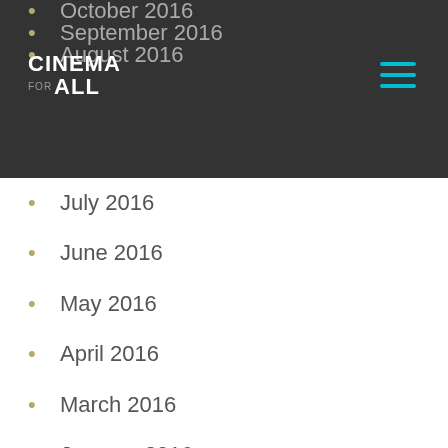Cinema For All – navigation header with hamburger menu
October 2016
September 2016
August 2016
July 2016
June 2016
May 2016
April 2016
March 2016
January 2016
November 2015
October 2015
September 2015
August 2015
July 2015
June 2015